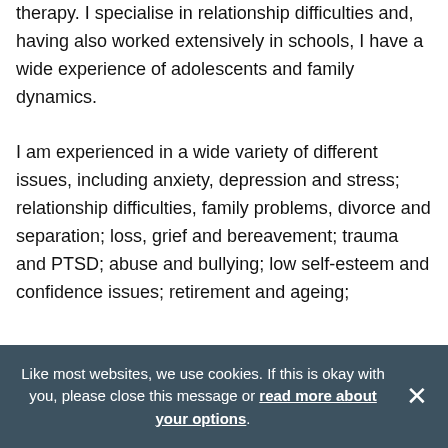therapy. I specialise in relationship difficulties and, having also worked extensively in schools, I have a wide experience of adolescents and family dynamics.

I am experienced in a wide variety of different issues, including anxiety, depression and stress; relationship difficulties, family problems, divorce and separation; loss, grief and bereavement; trauma and PTSD; abuse and bullying; low self-esteem and confidence issues; retirement and ageing;
Like most websites, we use cookies. If this is okay with you, please close this message or read more about your options.